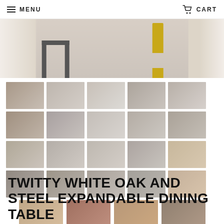MENU  CART
[Figure (photo): Hero image showing a white oak and steel expandable dining table with a geometric steel frame leg and yellow chairs in background, partially cropped at top]
[Figure (photo): Grid of 24 thumbnail product images showing various views of the Twitty white oak and steel expandable dining table — room views, detail shots, and workshop/manufacturing photos]
TWITTY WHITE OAK AND STEEL EXPANDABLE DINING TABLE